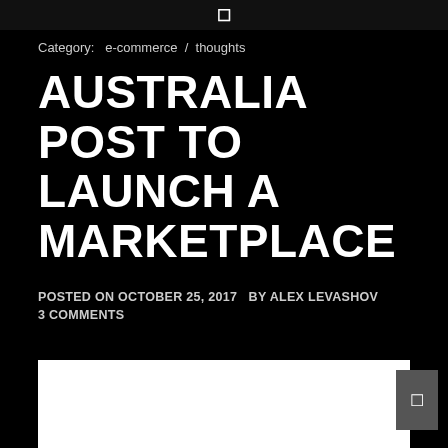□
Category:   e-commerce  /  thoughts
AUSTRALIA POST TO LAUNCH A MARKETPLACE
POSTED ON OCTOBER 25, 2017   BY ALEX LEVASHOV   3 COMMENTS
[Figure (photo): White image placeholder for article photo]